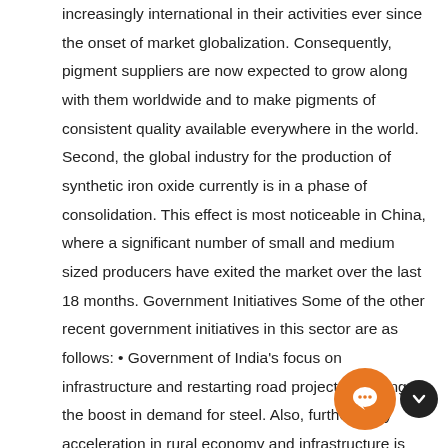increasingly international in their activities ever since the onset of market globalization. Consequently, pigment suppliers are now expected to grow along with them worldwide and to make pigments of consistent quality available everywhere in the world. Second, the global industry for the production of synthetic iron oxide currently is in a phase of consolidation. This effect is most noticeable in China, where a significant number of small and medium sized producers have exited the market over the last 18 months. Government Initiatives Some of the other recent government initiatives in this sector are as follows: • Government of India's focus on infrastructure and restarting road projects is aiding the boost in demand for steel. Also, further likely acceleration in rural economy and infrastructure is expected to lead to growth in demand for steel. • The Union Cabinet, Government of India has approved the National Steel Policy (NSP) 2017, as it seeks a globally competitive steel industry in India. NSP 2017 targets 300